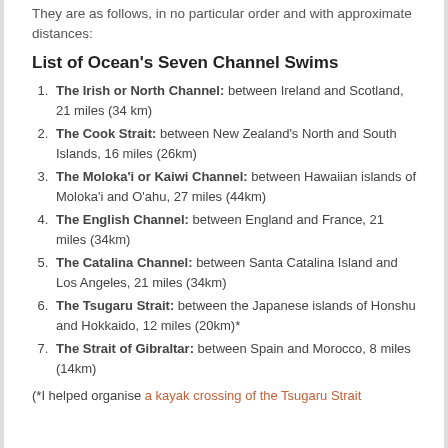They are as follows, in no particular order and with approximate distances:
List of Ocean's Seven Channel Swims
The Irish or North Channel: between Ireland and Scotland, 21 miles (34 km)
The Cook Strait: between New Zealand's North and South Islands, 16 miles (26km)
The Moloka'i or Kaiwi Channel: between Hawaiian islands of Moloka'i and O'ahu, 27 miles (44km)
The English Channel: between England and France, 21 miles (34km)
The Catalina Channel: between Santa Catalina Island and Los Angeles, 21 miles (34km)
The Tsugaru Strait: between the Japanese islands of Honshu and Hokkaido, 12 miles (20km)*
The Strait of Gibraltar: between Spain and Morocco, 8 miles (14km)
(*I helped organise a kayak crossing of the Tsugaru Strait